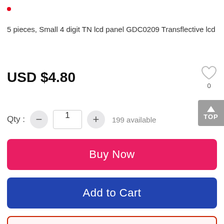[Figure (other): Red dot bullet indicator]
5 pieces, Small 4 digit TN lcd panel GDC0209 Transflective lcd
USD $4.80
[Figure (other): Heart/favorite icon with count 0]
Qty : 1   199 available
[Figure (other): TOP scroll-to-top badge]
Buy Now
Add to Cart
Inquiry Now